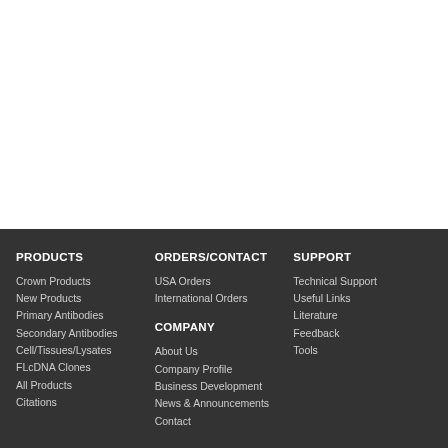PRODUCTS
Crown Products
New Products
Primary Antibodies
Secondary Antibodies
Cell/Tissues/Lysates
FLcDNA Clones
All Products
Citations
ORDERS/CONTACT
USA Orders
International Orders
COMPANY
About Us
Company Profile
Business Development
News & Announcements
Contact
SUPPORT
Technical Support
Useful Links
Literature
Feedback
Tools